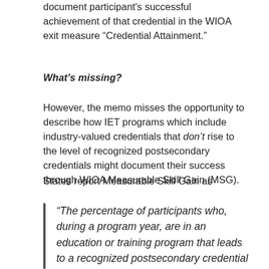document participant's successful achievement of that credential in the WIOA exit measure “Credential Attainment.”
What’s missing?
However, the memo misses the opportunity to describe how IET programs which include industry-valued credentials that don’t rise to the level of recognized postsecondary credentials might document their success through WIOA Measurable Skill Gain (MSG).
States report Measurable Skill Gain as
“The percentage of participants who, during a program year, are in an education or training program that leads to a recognized postsecondary credential or employment and